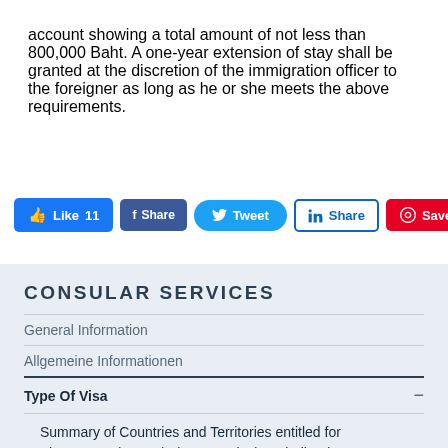account showing a total amount of not less than 800,000 Baht. A one-year extension of stay shall be granted at the discretion of the immigration officer to the foreigner as long as he or she meets the above requirements.
[Figure (other): Social media sharing buttons: Facebook Like (11), Facebook Share, Twitter Tweet, LinkedIn Share, Pinterest Save]
CONSULAR SERVICES
General Information
Allgemeine Informationen
Type Of Visa
Summary of Countries and Territories entitled for Visa Exemption and Visa on Arrival to Thailand